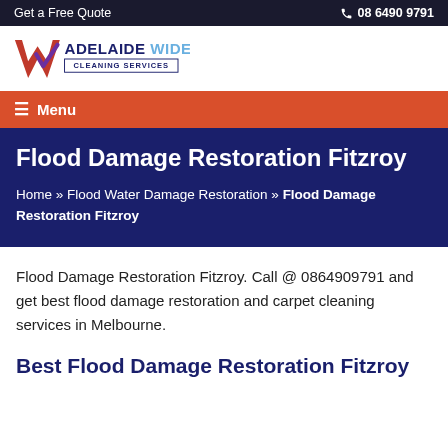Get a Free Quote    08 6490 9791
[Figure (logo): Adelaide Wide Cleaning Services logo with red and purple checkmark icon and text]
☰ Menu
Flood Damage Restoration Fitzroy
Home » Flood Water Damage Restoration » Flood Damage Restoration Fitzroy
Flood Damage Restoration Fitzroy. Call @ 0864909791 and get best flood damage restoration and carpet cleaning services in Melbourne.
Best Flood Damage Restoration Fitzroy